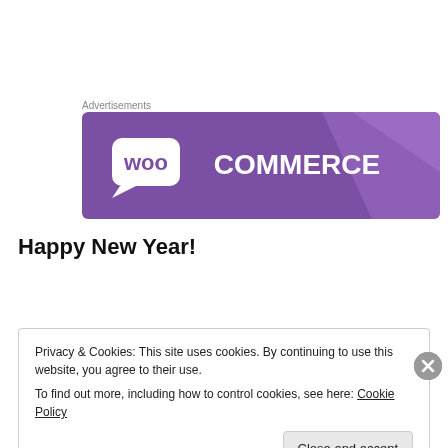Advertisements
[Figure (logo): WooCommerce advertisement banner — purple background with WooCommerce logo in white text]
Happy New Year!
Privacy & Cookies: This site uses cookies. By continuing to use this website, you agree to their use.
To find out more, including how to control cookies, see here: Cookie Policy
Close and accept